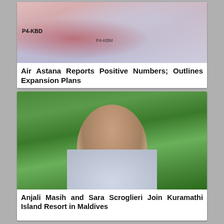[Figure (photo): Photograph of airplane tails on tarmac, showing registration P4-KBD and P4-KBM, with red and blue livery markings]
Air Astana Reports Positive Numbers; Outlines Expansion Plans
[Figure (photo): Portrait photograph of a woman in light blue polo shirt with name badge, standing outdoors in front of tropical green foliage]
Anjali Masih and Sara Scroglieri Join Kuramathi Island Resort in Maldives